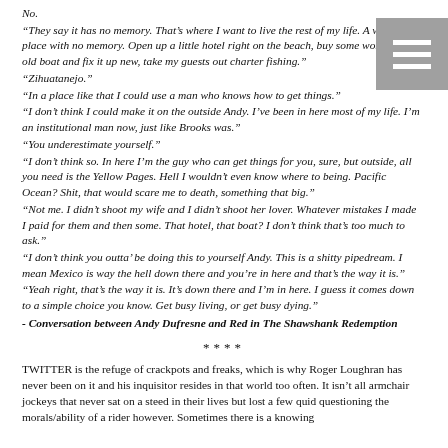No.
“They say it has no memory. That’s where I want to live the rest of my life. A warm place with no memory. Open up a little hotel right on the beach, buy some worthless old boat and fix it up new, take my guests out charter fishing.” “Zihuatanejo.” “In a place like that I could use a man who knows how to get things.” “I don’t think I could make it on the outside Andy. I’ve been in here most of my life. I’m an institutional man now, just like Brooks was.” “You underestimate yourself.” “I don’t think so. In here I’m the guy who can get things for you, sure, but outside, all you need is the Yellow Pages. Hell I wouldn’t even know where to being. Pacific Ocean? Shit, that would scare me to death, something that big.” “Not me. I didn’t shoot my wife and I didn’t shoot her lover. Whatever mistakes I made I paid for them and then some. That hotel, that boat? I don’t think that’s too much to ask.” “I don’t think you outta’ be doing this to yourself Andy. This is a shitty pipedream. I mean Mexico is way the hell down there and you’re in here and that’s the way it is.” “Yeah right, that’s the way it is. It’s down there and I’m in here. I guess it comes down to a simple choice you know. Get busy living, or get busy dying.”
- Conversation between Andy Dufresne and Red in The Shawshank Redemption
****
TWITTER is the refuge of crackpots and freaks, which is why Roger Loughran has never been on it and his inquisitor resides in that world too often. It isn’t all armchair jockeys that never sat on a steed in their lives but lost a few quid questioning the morals/ability of a rider however. Sometimes there is a knowing